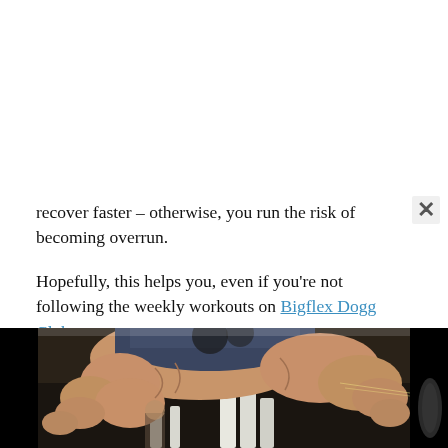recover faster – otherwise, you run the risk of becoming overrun.

Hopefully, this helps you, even if you're not following the weekly workouts on Bigflex Dogg Club.
[Figure (photo): A muscular person performing a gym exercise on a weight machine, photographed at close range showing arms and torso muscles, gym equipment visible in background.]